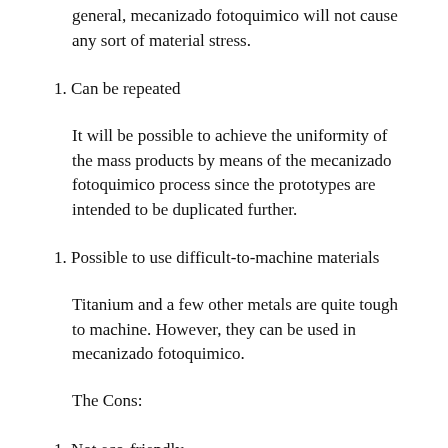general, mecanizado fotoquimico will not cause any sort of material stress.
1. Can be repeated
It will be possible to achieve the uniformity of the mass products by means of the mecanizado fotoquimico process since the prototypes are intended to be duplicated further.
1. Possible to use difficult-to-machine materials
Titanium and a few other metals are quite tough to machine. However, they can be used in mecanizado fotoquimico.
The Cons:
1. Not eco-friendly